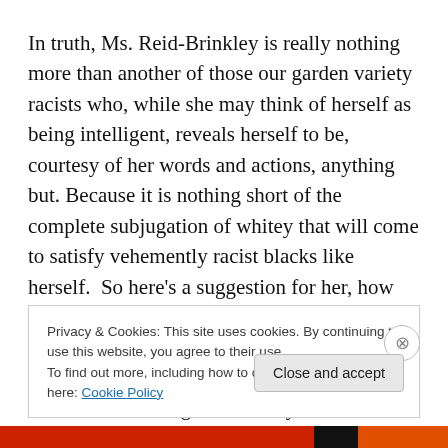In truth, Ms. Reid-Brinkley is really nothing more than another of those our garden variety racists who, while she may think of herself as being intelligent, reveals herself to be, courtesy of her words and actions, anything but. Because it is nothing short of the complete subjugation of whitey that will come to satisfy vehemently racist blacks like herself.  So here's a suggestion for her, how about we start by immediately taking away ALL affirmative action, all welfare, all food stamps, all Obamaphones and all preferential admission to college based only on skin color.
Privacy & Cookies: This site uses cookies. By continuing to use this website, you agree to their use.
To find out more, including how to control cookies, see here: Cookie Policy
Close and accept